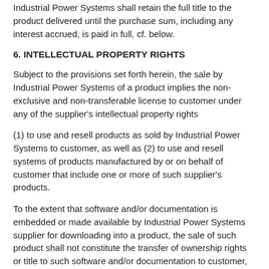Industrial Power Systems shall retain the full title to the product delivered until the purchase sum, including any interest accrued, is paid in full, cf. below.
6. INTELLECTUAL PROPERTY RIGHTS
Subject to the provisions set forth herein, the sale by Industrial Power Systems of a product implies the non-exclusive and non-transferable license to customer under any of the supplier's intellectual property rights
(1) to use and resell products as sold by Industrial Power Systems to customer, as well as (2) to use and resell systems of products manufactured by or on behalf of customer that include one or more of such supplier's products.
To the extent that software and/or documentation is embedded or made available by Industrial Power Systems supplier for downloading into a product, the sale of such product shall not constitute the transfer of ownership rights or title to such software and/or documentation to customer,